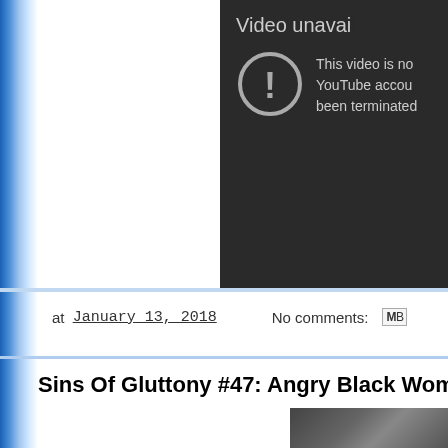[Figure (screenshot): YouTube video unavailable error screen. Dark background with circular exclamation icon on left. Text reads 'Video unavai...' and 'This video is no... YouTube accou... been terminated...']
at January 13, 2018   No comments:   MB
Sins Of Gluttony #47: Angry Black Wom...
[Figure (screenshot): Partial thumbnail image at bottom right, dark scene]